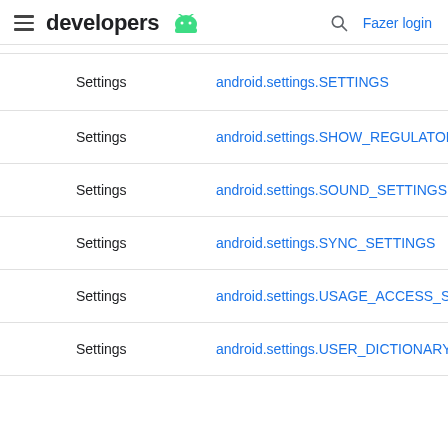developers | Fazer login
|  |  |
| --- | --- |
| Settings | android.settings.SETTINGS |
| Settings | android.settings.SHOW_REGULATORY_INF |
| Settings | android.settings.SOUND_SETTINGS |
| Settings | android.settings.SYNC_SETTINGS |
| Settings | android.settings.USAGE_ACCESS_SETTINGS |
| Settings | android.settings.USER_DICTIONARY_SETTI |